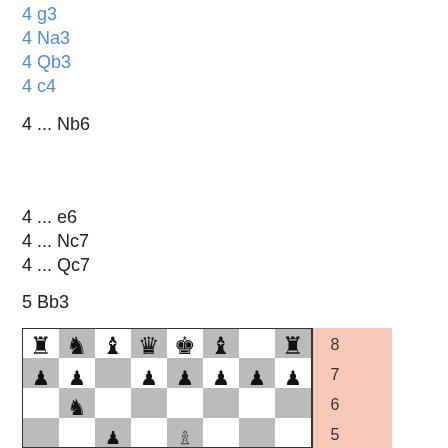4 g3
4 Na3
4 Qb3
4 c4
4 ... Nb6
4 ... e6
4 ... Nc7
4 ... Qc7
5 Bb3
[Figure (other): Chess board diagram showing a position with pieces on ranks 5-8. Rank 8: rook on a8, knight on b8, bishop on c8, queen on d8, king on e8, bishop on f8, rook on h8. Rank 7: pawns on a7, b7, d7, e7, f7, g7, h7. Rank 6: knight on b6. Rank 5: pawn on c5 area, white bishop visible. Right side highlighted in salmon/orange showing ranks 5-8.]